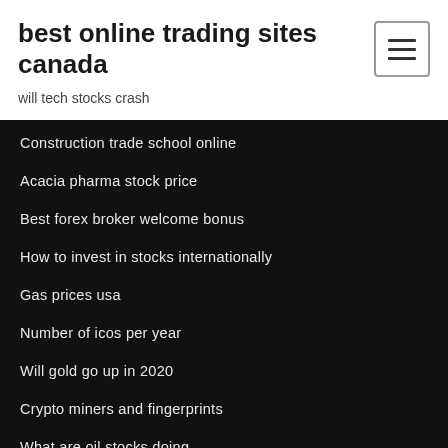best online trading sites canada
will tech stocks crash
Construction trade school online
Acacia pharma stock price
Best forex broker welcome bonus
How to invest in stocks internationally
Gas prices usa
Number of icos per year
Will gold go up in 2020
Crypto miners and fingerprints
What are oil stocks doing
Metatrader market maker